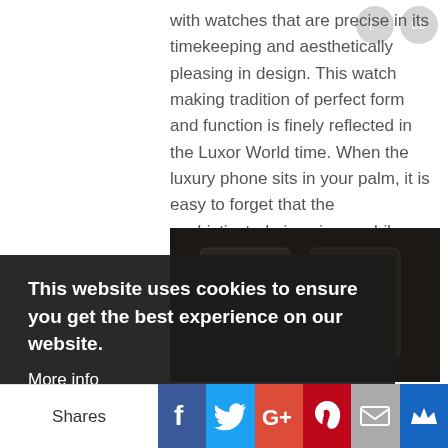with watches that are precise in its timekeeping and aesthetically pleasing in design. This watch making tradition of perfect form and function is finely reflected in the Luxor World time. When the luxury phone sits in your palm, it is easy to forget that the sophisticated piece is a mobile phone.
[Figure (photo): Dark product photo of a luxury phone/watch device, partially obscured by cookie consent overlay]
This website uses cookies to ensure you get the best experience on our website.
More info
Got it!
Shares | Facebook | Twitter | Google+ | Pinterest | Email | Crown